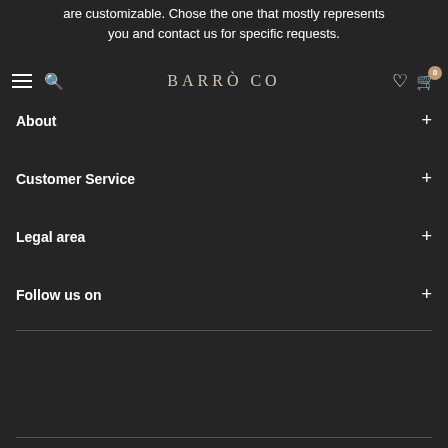are customizable. Chose the one that mostly represents you and contact us for specific requests.
BARROCO
About
Customer Service
Legal area
Follow us on